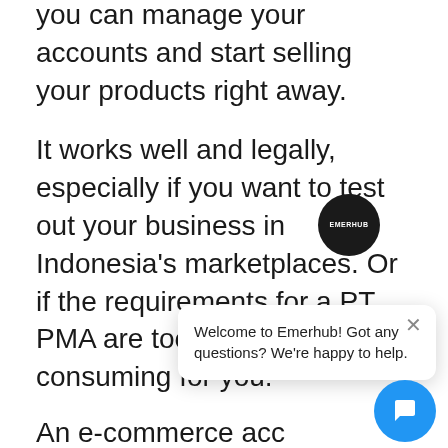you can manage your accounts and start selling your products right away.
It works well and legally, especially if you want to test out your business in Indonesia's marketplaces. Or if the requirements for a PT PMA are too costly and time-consuming for you.
An e-commerce acc[ount requires] you to follow Indone[sia's] regulations. It inclu[des] providing monthly to annual tax services to follow Indonesia's tax law.
[Figure (screenshot): Emerhub chat widget overlay with dark circular logo showing 'EMERHUB' text, a white rounded chat popup box with close X button and text 'Welcome to Emerhub! Got any questions? We're happy to help.', and a blue circular chat button with speech bubble icon.]